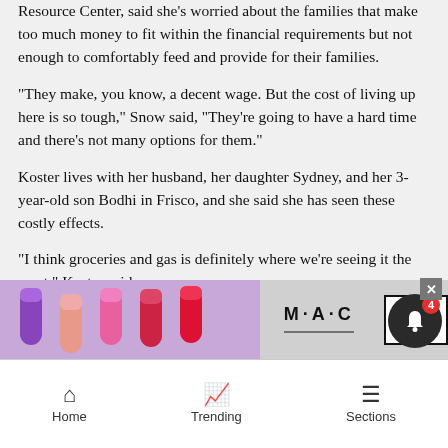Resource Center, said she’s worried about the families that make too much money to fit within the financial requirements but not enough to comfortably feed and provide for their families.
“They make, you know, a decent wage. But the cost of living up here is so tough,” Snow said, “They’re going to have a hard time and there’s not many options for them.”
Koster lives with her husband, her daughter Sydney, and her 3-year-old son Bodhi in Frisco, and she said she has seen these costly effects.
“I think groceries and gas is definitely where we’re seeing it the most,” Koster said.
Incom…
[Figure (other): MAC cosmetics advertisement banner showing lipstick products in pink, purple, red colors with MAC logo and SHOP NOW button]
[Figure (other): Notification bell icon with badge showing count 4, and close X button]
Home   Trending   Sections